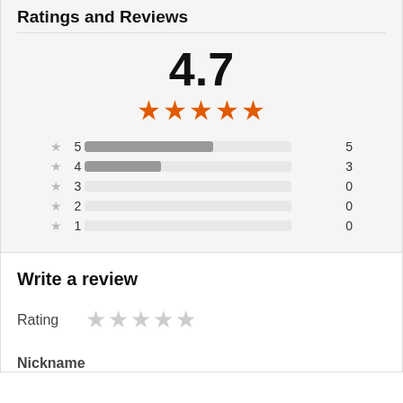Ratings and Reviews
[Figure (bar-chart): Star rating distribution bars with overall score 4.7 out of 5]
Write a review
Rating
Nickname